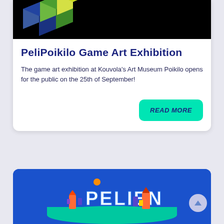[Figure (illustration): Geometric cube art with blue, green, and yellow 3D cubes on black background]
PeliPoikilo Game Art Exhibition
The game art exhibition at Kouvola's Art Museum Poikilo opens for the public on the 25th of September!
[Figure (illustration): READ MORE button in teal/green color with italic bold text]
[Figure (illustration): Blue banner with 3D PELIEN text and colorful building illustrations]